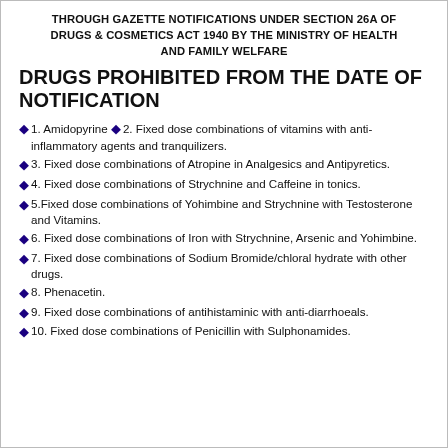THROUGH GAZETTE NOTIFICATIONS UNDER SECTION 26A OF DRUGS & COSMETICS ACT 1940 BY THE MINISTRY OF HEALTH AND FAMILY WELFARE
DRUGS PROHIBITED FROM THE DATE OF NOTIFICATION
1. Amidopyrine ♦2. Fixed dose combinations of vitamins with anti-inflammatory agents and tranquilizers.
3. Fixed dose combinations of Atropine in Analgesics and Antipyretics.
4. Fixed dose combinations of Strychnine and Caffeine in tonics.
5.Fixed dose combinations of Yohimbine and Strychnine with Testosterone and Vitamins.
6. Fixed dose combinations of Iron with Strychnine, Arsenic and Yohimbine.
7. Fixed dose combinations of Sodium Bromide/chloral hydrate with other drugs.
8. Phenacetin.
9. Fixed dose combinations of antihistaminic with anti-diarrhoeals.
10. Fixed dose combinations of Penicillin with Sulphonamides.